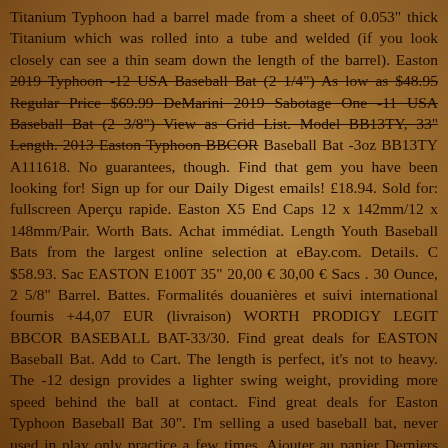Titanium Typhoon had a barrel made from a sheet of 0.053" thick Titanium which was rolled into a tube and welded (if you look closely can see a thin seam down the length of the barrel). Easton 2019 Typhoon -12 USA Baseball Bat (2 1/4") As low as $48.95 Regular Price $69.99 DeMarini 2019 Sabotage One -11 USA Baseball Bat (2 3/8") View as Grid List. Model BB13TY, 33" Length. 2013 Easton Typhoon BBCOR Baseball Bat -3oz BB13TY A111618. No guarantees, though. Find that gem you have been looking for! Sign up for our Daily Digest emails! £18.94. Sold for: fullscreen Aperçu rapide. Easton X5 End Caps 12 x 142mm/12 x 148mm/Pair. Worth Bats. Achat immédiat. Length Youth Baseball Bats from the largest online selection at eBay.com. Details. C $58.93. Sac EASTON E100T 35" 20,00 € 30,00 € Sacs . 30 Ounce, 2 5/8" Barrel. Battes. Formalités douanières et suivi international fournis +44,07 EUR (livraison) WORTH PRODIGY LEGIT BBCOR BASEBALL BAT-33/30. Find great deals for EASTON Baseball Bat. Add to Cart. The length is perfect, it's not to heavy. The -12 design provides a lighter swing weight, providing more speed behind the ball at contact. Find great deals for Easton Typhoon Baseball Bat 30". I'm selling a used baseball bat, never used in play only practice a few times. Ajouter au panier Derniers articles en stock Description; Référence Produit; Batte EASTON Typhoon -11 La Typhoon est conçue pour offrir aux joueuses une combinaison imbattable de performance et de durabilité. 179. C $91.60. It is for … Military-grade structure combined with a bowl-